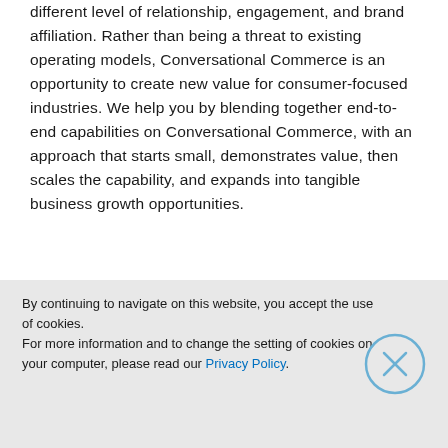different level of relationship, engagement, and brand affiliation. Rather than being a threat to existing operating models, Conversational Commerce is an opportunity to create new value for consumer-focused industries. We help you by blending together end-to-end capabilities on Conversational Commerce, with an approach that starts small, demonstrates value, then scales the capability, and expands into tangible business growth opportunities.
Contact us at dcx.global@capgemini.com.
By continuing to navigate on this website, you accept the use of cookies.
For more information and to change the setting of cookies on your computer, please read our Privacy Policy.